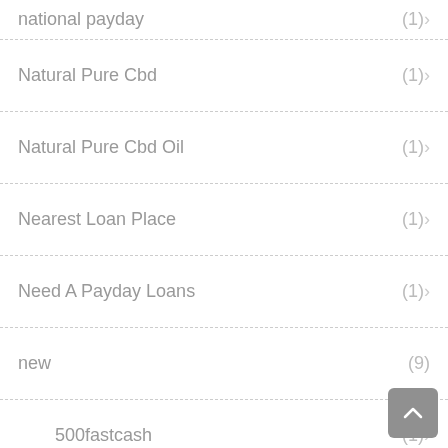national payday (1)
Natural Pure Cbd (1)
Natural Pure Cbd Oil (1)
Nearest Loan Place (1)
Need A Payday Loans (1)
new (9)
500fastcash (1)
americash (1)
biotanica (1)
cashnetusa (1)
ICashLoan (1)
loannow (1)